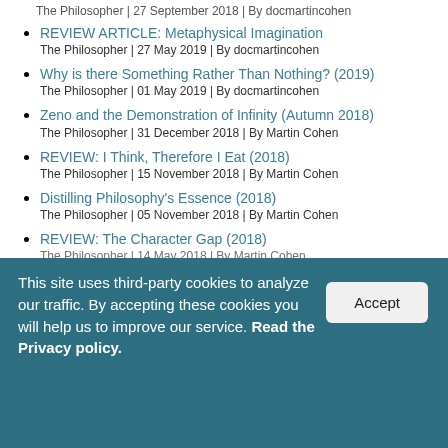The Philosopher | 27 September 2018 | By docmartincohen
REVIEW ARTICLE: Metaphysical Imagination
The Philosopher | 27 May 2019 | By docmartincohen
Why is there Something Rather Than Nothing? (2019)
The Philosopher | 01 May 2019 | By docmartincohen
Zeno and the Demonstration of Infinity (Autumn 2018)
The Philosopher | 31 December 2018 | By Martin Cohen
REVIEW: I Think, Therefore I Eat (2018)
The Philosopher | 15 November 2018 | By Martin Cohen
Distilling Philosophy's Essence (2018)
The Philosopher | 05 November 2018 | By Martin Cohen
REVIEW: The Character Gap (2018)
The Philosopher | 14 May 2018 | By Martin Cohen
This site uses third-party cookies to analyze our traffic. By accepting these cookies you will help us to improve our service. Read the Privacy policy.